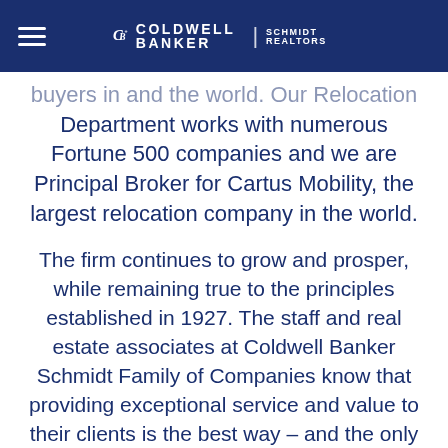Coldwell Banker Schmidt Realtors
buyers in and the world. Our Relocation Department works with numerous Fortune 500 companies and we are Principal Broker for Cartus Mobility, the largest relocation company in the world.
The firm continues to grow and prosper, while remaining true to the principles established in 1927. The staff and real estate associates at Coldwell Banker Schmidt Family of Companies know that providing exceptional service and value to their clients is the best way – and the only way - to maintain our role as the trusted real estate company in the markets we serve. The firm's continued